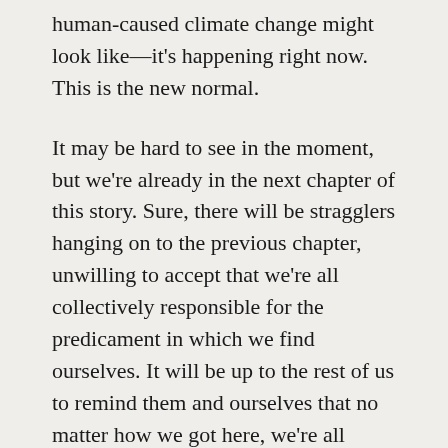human-caused climate change might look like—it's happening right now. This is the new normal.
It may be hard to see in the moment, but we're already in the next chapter of this story. Sure, there will be stragglers hanging on to the previous chapter, unwilling to accept that we're all collectively responsible for the predicament in which we find ourselves. It will be up to the rest of us to remind them and ourselves that no matter how we got here, we're all collectively responsible for making the decisions that lift us out of this predicament … or at least the ones that help make the most of the situation in the